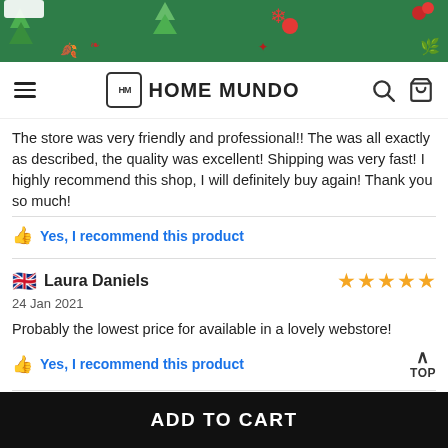[Figure (screenshot): Christmas themed green banner with holiday decorations (trees, snowflakes, ornaments)]
HOME MUNDO — navigation bar with hamburger menu, logo, search and cart icons
The store was very friendly and professional!! The was all exactly as described, the quality was excellent! Shipping was very fast! I highly recommend this shop, I will definitely buy again! Thank you so much!
👍 Yes, I recommend this product
Laura Daniels — 24 Jan 2021 — ★★★★★
Probably the lowest price for available in a lovely webstore!
👍 Yes, I recommend this product
TOP
ADD TO CART